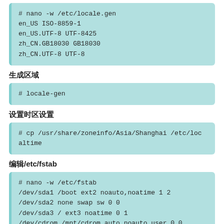# nano -w /etc/locale.gen
en_US ISO-8859-1
en_US.UTF-8 UTF-8425
zh_CN.GB18030 GB18030
zh_CN.UTF-8 UTF-8
生成区域
# locale-gen
设置时区设置
# cp /usr/share/zoneinfo/Asia/Shanghai /etc/localtime
编辑/etc/fstab
# nano -w /etc/fstab
/dev/sda1 /boot ext2 noauto,noatime 1 2
/dev/sda2 none swap sw 0 0
/dev/sda3 / ext3 noatime 0 1
/dev/cdrom /mnt/cdrom auto noauto,user 0 0